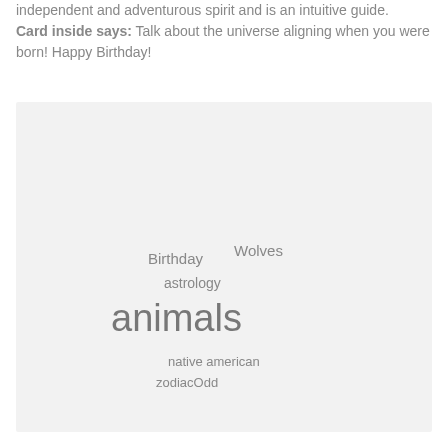independent and adventurous spirit and is an intuitive guide. Card inside says: Talk about the universe aligning when you were born! Happy Birthday!
[Figure (infographic): Word cloud / tag cloud on light grey background containing the words: Birthday, Wolves, astrology, animals (largest), native american, zodiacOdd]